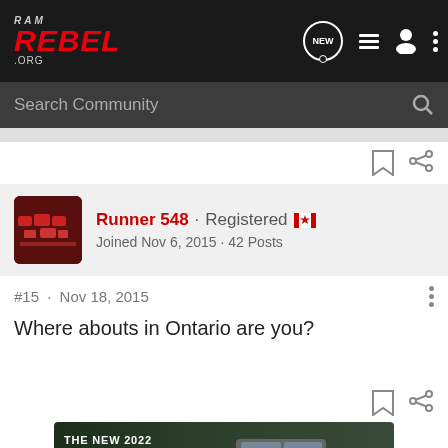RAM REBEL .ORG — community forum header with navigation icons (NEW, list, user, menu)
Search Community
Runner 548 · Registered 🇨🇦
Joined Nov 6, 2015 · 42 Posts
#15 · Nov 18, 2015
Where abouts in Ontario are you?
[Figure (screenshot): Advertisement for The New 2022 Silverado by Chevrolet with Explore button]